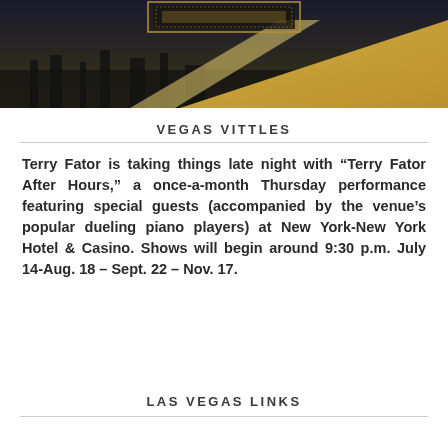[Figure (photo): Dark panoramic photo of Las Vegas skyline at night with golden textured overlay in the lower right, featuring an ornate frame/logo at the top center.]
VEGAS VITTLES
Terry Fator is taking things late night with “Terry Fator After Hours,” a once-a-month Thursday performance featuring special guests (accompanied by the venue’s popular dueling piano players) at New York-New York Hotel & Casino. Shows will begin around 9:30 p.m. July 14-Aug. 18 – Sept. 22 – Nov. 17.
LAS VEGAS LINKS